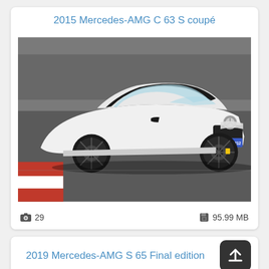2015 Mercedes-AMG C 63 S coupé
[Figure (photo): White 2015 Mercedes-AMG C 63 S coupé on a racing track, front three-quarter view, license plate S HB 9212]
📷 29    💾 95.99 MB
2019 Mercedes-AMG S 65 Final edition